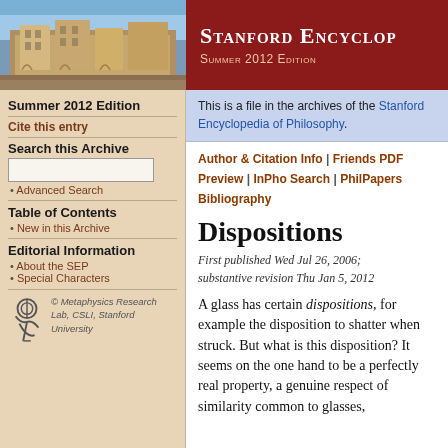[Figure (photo): Stanford campus building photo used in SEP header]
Stanford Encyclop | Summer 2012 Edition
Summer 2012 Edition
Cite this entry
Search this Archive
Advanced Search
Table of Contents
New in this Archive
Editorial Information
About the SEP
Special Characters
© Metaphysics Research Lab, CSLI, Stanford University
This is a file in the archives of the Stanford Encyclopedia of Philosophy.
Author & Citation Info | Friends PDF Preview | InPho Search | PhilPapers Bibliography
Dispositions
First published Wed Jul 26, 2006; substantive revision Thu Jan 5, 2012
A glass has certain dispositions, for example the disposition to shatter when struck. But what is this disposition? It seems on the one hand to be a perfectly real property, a genuine respect of similarity common to glasses,